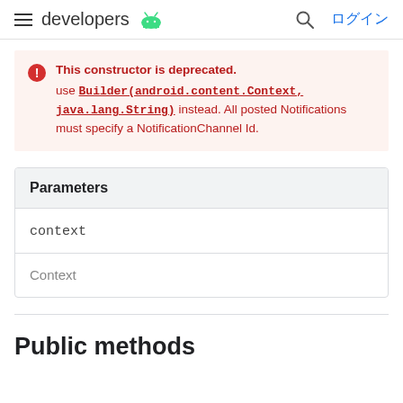developers (Android logo) | search | ログイン
This constructor is deprecated. use Builder(android.content.Context, java.lang.String) instead. All posted Notifications must specify a NotificationChannel Id.
| Parameters |
| --- |
| context |
| Context |
Public methods